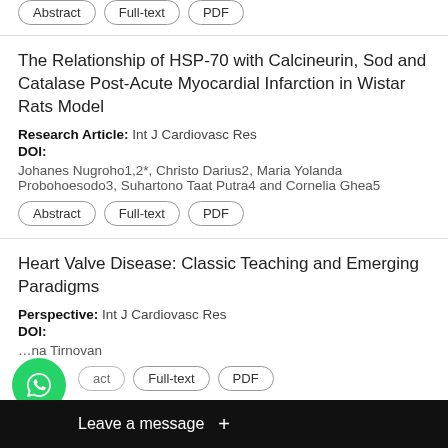Abstract | Full-text | PDF
The Relationship of HSP-70 with Calcineurin, Sod and Catalase Post-Acute Myocardial Infarction in Wistar Rats Model
Research Article: Int J Cardiovasc Res
DOI:
Johanes Nugroho1,2*, Christo Darius2, Maria Yolanda Probohoesodo3, Suhartono Taat Putra4 and Cornelia Ghea5
Abstract | Full-text | PDF
Heart Valve Disease: Classic Teaching and Emerging Paradigms
Perspective: Int J Cardiovasc Res
DOI:
…na Tirnovan
Abstract | Full-text | PDF
Mar